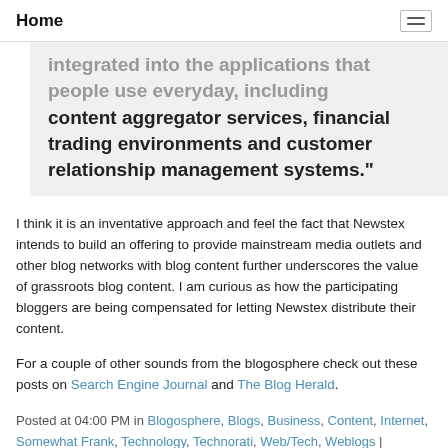Home
integrated into the applications that people use everyday, including content aggregator services, financial trading environments and customer relationship management systems."
I think it is an inventative approach and feel the fact that Newstex intends to build an offering to provide mainstream media outlets and other blog networks with blog content further underscores the value of grassroots blog content. I am curious as how the participating bloggers are being compensated for letting Newstex distribute their content.
For a couple of other sounds from the blogosphere check out these posts on Search Engine Journal and The Blog Herald.
Posted at 04:00 PM in Blogosphere, Blogs, Business, Content, Internet, Somewhat Frank, Technology, Technorati, Web/Tech, Weblogs | Permalink | Comments (1) | TrackBack (0)